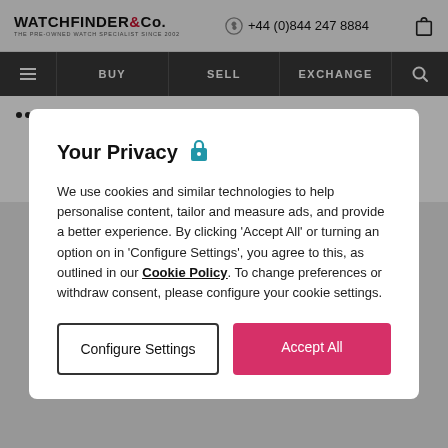WATCHFINDER & Co. THE PRE-OWNED WATCH SPECIALIST SINCE 2002 | +44 (0)844 247 8884
BUY | SELL | EXCHANGE
••• > 191334
Breitling
Chronomat 44
AB0110
Your Privacy 🔒
We use cookies and similar technologies to help personalise content, tailor and measure ads, and provide a better experience. By clicking 'Accept All' or turning an option on in 'Configure Settings', you agree to this, as outlined in our Cookie Policy. To change preferences or withdraw consent, please configure your cookie settings.
Configure Settings
Accept All